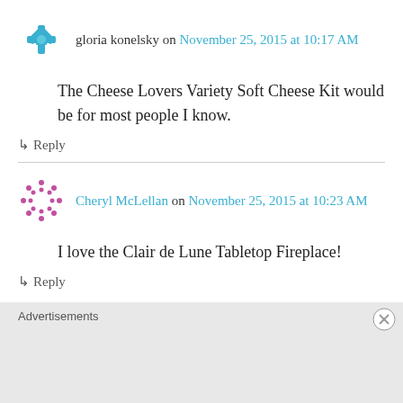gloria konelsky on November 25, 2015 at 10:17 AM
The Cheese Lovers Variety Soft Cheese Kit would be for most people I know.
↳ Reply
Cheryl McLellan on November 25, 2015 at 10:23 AM
I love the Clair de Lune Tabletop Fireplace!
↳ Reply
Advertisements